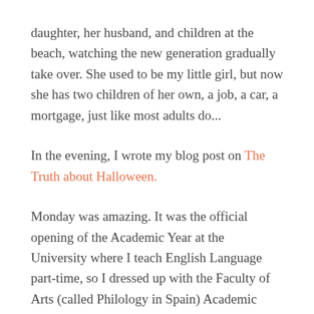daughter, her husband, and children at the beach, watching the new generation gradually take over. She used to be my little girl, but now she has two children of her own, a job, a car, a mortgage, just like most adults do...
In the evening, I wrote my blog post on The Truth about Halloween.
Monday was amazing. It was the official opening of the Academic Year at the University where I teach English Language part-time, so I dressed up with the Faculty of Arts (called Philology in Spain) Academic Dress, namely a black robe with a short light blue cape or hood, and tasselled cap (the cap is worn by those with a PhD). I had never worn this gown before, but I thought I'd do so at least once, so that I could show my